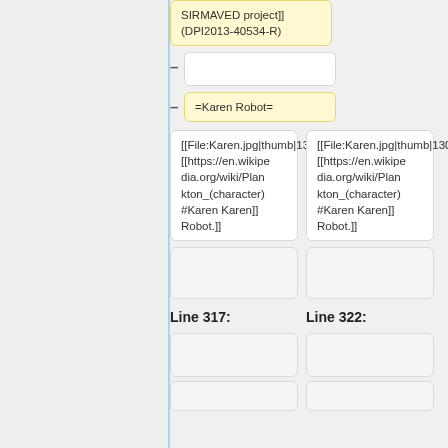SIRMAVED project]] (DPI2013-40534-R)
–
– =Karen Robot=
[[File:Karen.jpg|thumb|130px|[[https://en.wikipedia.org/wiki/Plankton_(character)#Karen Karen]] Robot.]]
[[File:Karen.jpg|thumb|130px|[[https://en.wikipedia.org/wiki/Plankton_(character)#Karen Karen]] Robot.]]
Line 317:
Line 322: